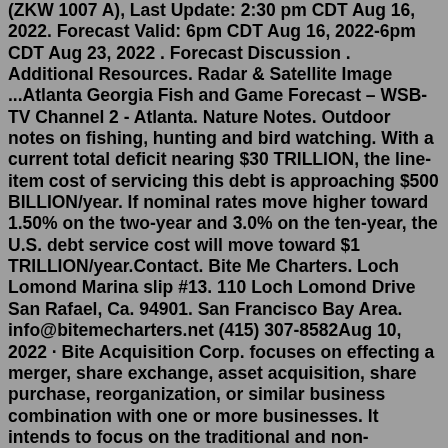(ZKW 1007 A), Last Update: 2:30 pm CDT Aug 16, 2022. Forecast Valid: 6pm CDT Aug 16, 2022-6pm CDT Aug 23, 2022 . Forecast Discussion . Additional Resources. Radar & Satellite Image ...Atlanta Georgia Fish and Game Forecast – WSB-TV Channel 2 - Atlanta. Nature Notes. Outdoor notes on fishing, hunting and bird watching. With a current total deficit nearing $30 TRILLION, the line-item cost of servicing this debt is approaching $500 BILLION/year. If nominal rates move higher toward 1.50% on the two-year and 3.0% on the ten-year, the U.S. debt service cost will move toward $1 TRILLION/year.Contact. Bite Me Charters. Loch Lomond Marina slip #13. 110 Loch Lomond Drive San Rafael, Ca. 94901. San Francisco Bay Area. info@bitemecharters.net (415) 307-8582Aug 10, 2022 · Bite Acquisition Corp. focuses on effecting a merger, share exchange, asset acquisition, share purchase, reorganization, or similar business combination with one or more businesses. It intends to focus on the traditional and non-traditional restaurant sectors in